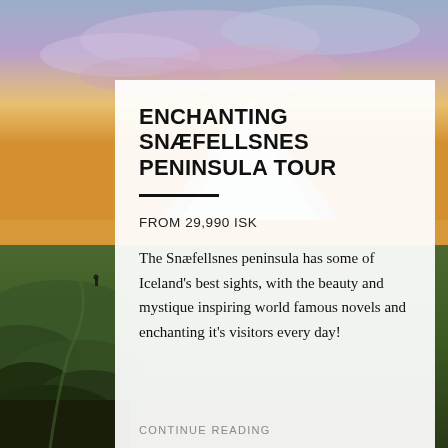[Figure (photo): Scenic landscape photo of Snæfellsnes peninsula showing dramatic sky with purple and orange sunset hues, green rocky coastal terrain with a figure walking in the distance]
ENCHANTING SNÆFELLSNES PENINSULA TOUR
FROM 29,990 ISK
The Snæfellsnes peninsula has some of Iceland's best sights, with the beauty and mystique inspiring world famous novels and enchanting it's visitors every day!
CONTINUE READING